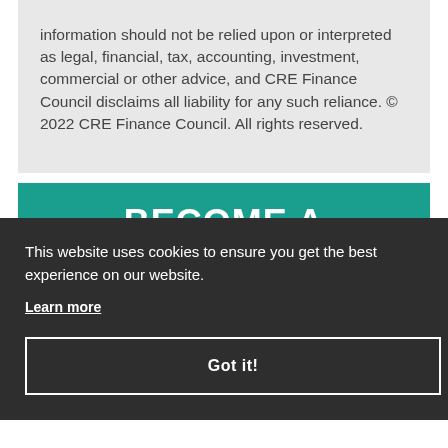information should not be relied upon or interpreted as legal, financial, tax, accounting, investment, commercial or other advice, and CRE Finance Council disclaims all liability for any such reliance. © 2022 CRE Finance Council. All rights reserved.
BECOME A MEMBER
an
This website uses cookies to ensure you get the best experience on our website.
Learn more
Got it!